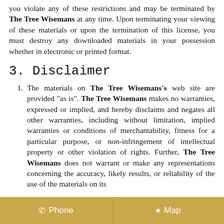you violate any of these restrictions and may be terminated by The Tree Wisemans at any time. Upon terminating your viewing of these materials or upon the termination of this license, you must destroy any downloaded materials in your possession whether in electronic or printed format.
3. Disclaimer
The materials on The Tree Wisemans's web site are provided "as is". The Tree Wisemans makes no warranties, expressed or implied, and hereby disclaims and negates all other warranties, including without limitation, implied warranties or conditions of merchantability, fitness for a particular purpose, or non-infringement of intellectual property or other violation of rights. Further, The Tree Wisemans does not warrant or make any representations concerning the accuracy, likely results, or reliability of the use of the materials on its
Phone   Map